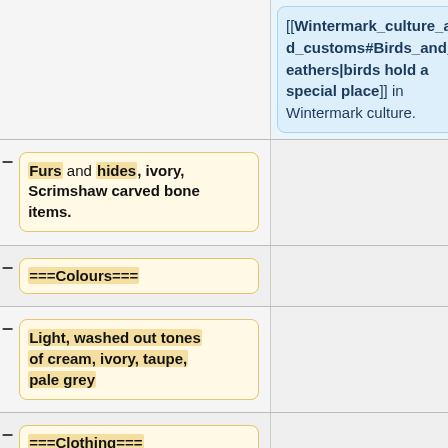[[Wintermark_culture_and_customs#Birds_and_feathers|birds hold a special place]] in Wintermark culture.
– Furs and hides, ivory, Scrimshaw carved bone items.
===Colours===
– Light, washed out tones of cream, ivory, taupe, pale grey
===Clothing===
– A long tight coat of animal skin (skin side out, fur side in) emblazoned
– with drawings and